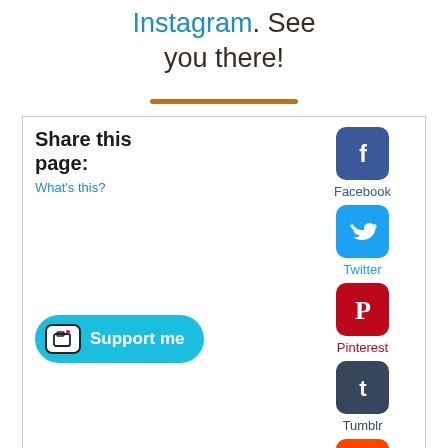Instagram. See you there!
[Figure (other): Orange horizontal divider line]
Share this page:
What's this?
[Figure (logo): Facebook logo icon - blue rounded square with white f]
Facebook
[Figure (logo): Twitter logo icon - blue rounded square with white bird]
Twitter
[Figure (logo): Pinterest logo icon - red rounded square with white P]
Pinterest
[Figure (logo): Tumblr logo icon - dark blue rounded square with white t]
Tumblr
[Figure (logo): Reddit logo icon - orange rounded square with white alien]
Reddit
[Figure (logo): WhatsApp logo icon - green rounded square with white phone]
[Figure (other): Support me button with Ko-fi cup icon]